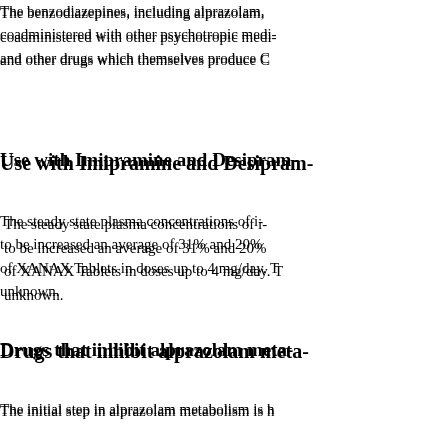The benzodiazepines, including alprazolam, coadministered with other psychotropic medi- and other drugs which themselves produce C
Use with Imipramine and Desipram-
The steady state plasma concentrations of i- to be increased an average of 31% and 20% of XANAX Tablets in doses up to 4 mg/day. T unknown.
Drugs that inhibit alprazolam meta-
The initial step in alprazolam metabolism is h (CYP3A). Drugs which inhibit this metabolic clearance of alprazolam (see CONTRAINDIG this type).
Drugs demonstrated to be CYP3- significance on the basis of clin- (caution is recommended during-
Fluoxetine — Coadministration of fluoxetine concentration of alprazolam by 46%, decrea-